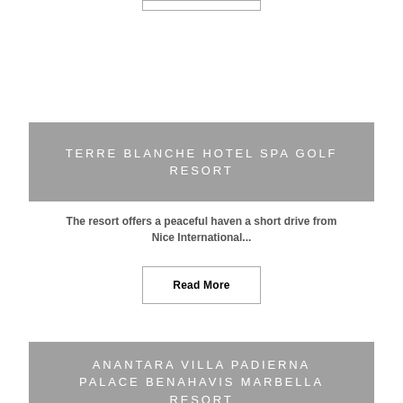TERRE BLANCHE HOTEL SPA GOLF RESORT
The resort offers a peaceful haven a short drive from Nice International...
Read More
ANANTARA VILLA PADIERNA PALACE BENAHAVIS MARBELLA RESORT